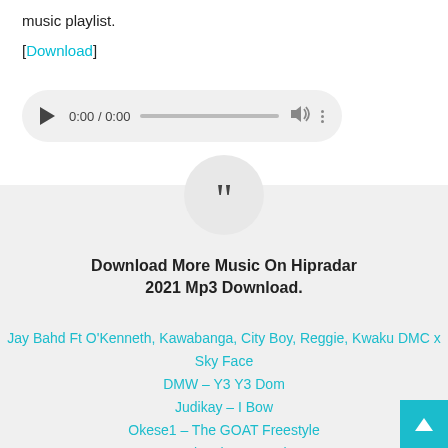music playlist.
[Download]
[Figure (other): Audio player widget showing 0:00 / 0:00 with play button, progress bar, volume icon, and more options icon]
[Figure (infographic): Quote block section with large quotation mark circle icon, bold title 'Download More Music On Hipradar 2021 Mp3 Download.' and a list of music download links in teal color]
Jay Bahd Ft O'Kenneth, Kawabanga, City Boy, Reggie, Kwaku DMC x Sky Face
DMW – Y3 Y3 Dom
Judikay – I Bow
Okese1 – The GOAT Freestyle
Busy Signal – Margarita
Olamide New Album UY Scuti